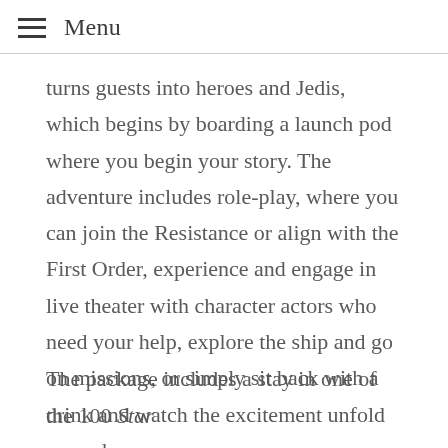Menu
turns guests into heroes and Jedis, which begins by boarding a launch pod where you begin your story. The adventure includes role-play, where you can join the Resistance or align with the First Order, experience and engage in live theater with character actors who need your help, explore the ship and go on missions, or simply sit back with a drink and watch the excitement unfold around you.
The package includes a stay in one of the 100 Star